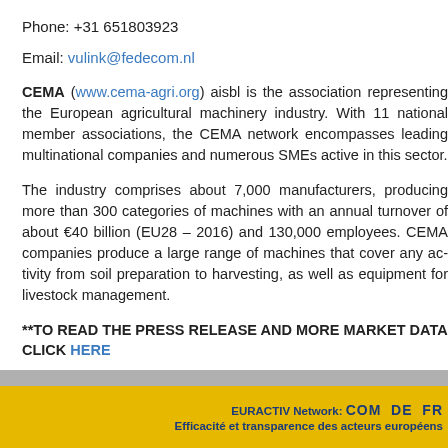Phone: +31 651803923
Email: vulink@fedecom.nl
CEMA (www.cema-agri.org) aisbl is the association representing the European agricultural machinery industry. With 11 national member associations, the CEMA network encompasses leading multinational companies and numerous SMEs active in this sector.
The industry comprises about 7,000 manufacturers, producing more than 300 categories of machines with an annual turnover of about €40 billion (EU28 – 2016) and 130,000 employees. CEMA companies produce a large range of machines that cover any activity from soil preparation to harvesting, as well as equipment for livestock management.
**TO READ THE PRESS RELEASE AND MORE MARKET DATA CLICK HERE**
EURACTIV Network: COM DE FR ... Efficacité et transparence des acteurs européens